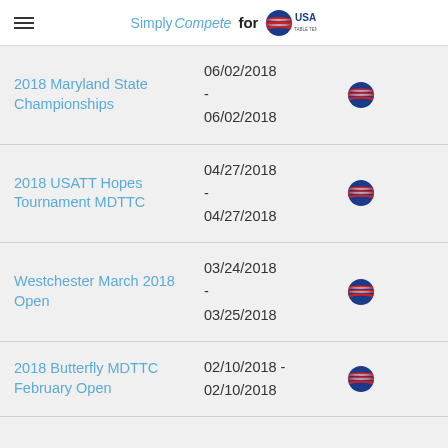SimplyCompete for USA Table Tennis
2018 Maryland State Championships | 06/02/2018 - 06/02/2018
2018 USATT Hopes Tournament MDTTC | 04/27/2018 - 04/27/2018
Westchester March 2018 Open | 03/24/2018 - 03/25/2018
2018 Butterfly MDTTC February Open | 02/10/2018 - 02/10/2018